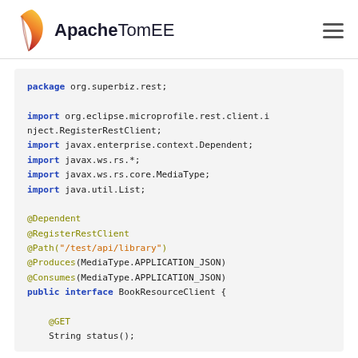Apache TomEE
package org.superbiz.rest;

import org.eclipse.microprofile.rest.client.inject.RegisterRestClient;
import javax.enterprise.context.Dependent;
import javax.ws.rs.*;
import javax.ws.rs.core.MediaType;
import java.util.List;

@Dependent
@RegisterRestClient
@Path("/test/api/library")
@Produces(MediaType.APPLICATION_JSON)
@Consumes(MediaType.APPLICATION_JSON)
public interface BookResourceClient {

    @GET
    String status();